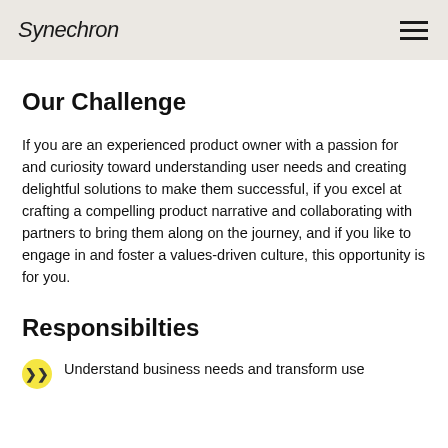Synechron
Our Challenge
If you are an experienced product owner with a passion for and curiosity toward understanding user needs and creating delightful solutions to make them successful, if you excel at crafting a compelling product narrative and collaborating with partners to bring them along on the journey, and if you like to engage in and foster a values-driven culture, this opportunity is for you.
Responsibilties
Understand business needs and transform use